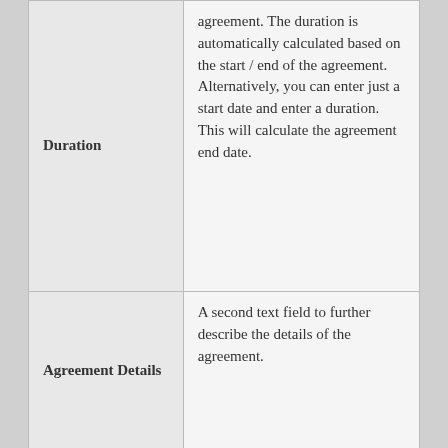| Field | Description |
| --- | --- |
| Duration | agreement. The duration is automatically calculated based on the start / end of the agreement. Alternatively, you can enter just a start date and enter a duration. This will calculate the agreement end date. |
| Agreement Details | A second text field to further describe the details of the agreement. |
| Originating | If this agreement has been created from another agreement, then this field will link back to the original. Typically, this will be |